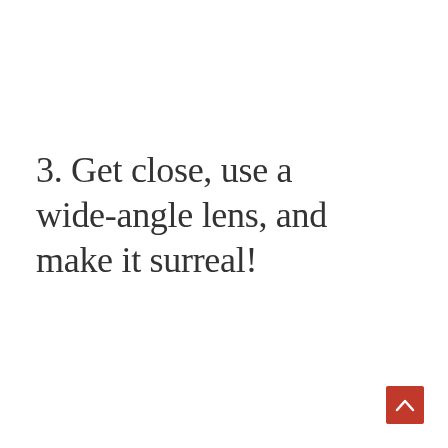3. Get close, use a wide-angle lens, and make it surreal!
[Figure (other): Red square navigation button with white upward-pointing chevron arrow in the bottom-right corner of the page]